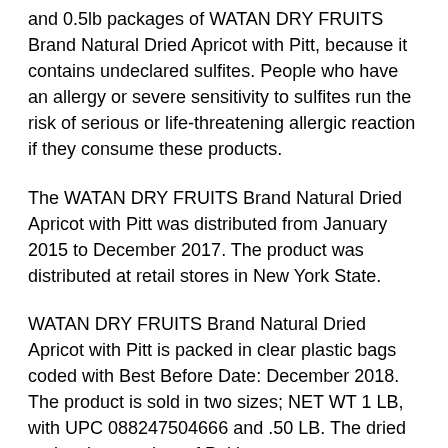and 0.5lb packages of WATAN DRY FRUITS Brand Natural Dried Apricot with Pitt, because it contains undeclared sulfites. People who have an allergy or severe sensitivity to sulfites run the risk of serious or life-threatening allergic reaction if they consume these products.
The WATAN DRY FRUITS Brand Natural Dried Apricot with Pitt was distributed from January 2015 to December 2017. The product was distributed at retail stores in New York State.
WATAN DRY FRUITS Brand Natural Dried Apricot with Pitt is packed in clear plastic bags coded with Best Before Date: December 2018. The product is sold in two sizes; NET WT 1 LB, with UPC 088247504666 and .50 LB. The dried apricot is a product of Pakistan.
No illnesses have been reported to date.